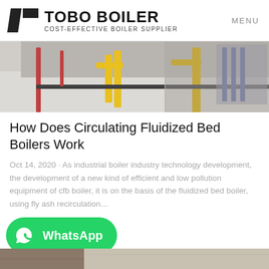TOBO BOILER COST-EFFECTIVE BOILER SUPPLIER | MENU
[Figure (photo): Industrial boiler facility interior with metal pipes and equipment structures including yellow and red supports]
How Does Circulating Fluidized Bed Boilers Work
Oct 14, 2020 · As industrial boiler industry technology development, the development of a new kind of efficient and low pollution equipment of cfb boiler, it is on the basis of the fluidized bed boiler, using fly ash recirculation…
[Figure (logo): WhatsApp button - green rounded button with WhatsApp icon and text]
[Figure (photo): Partial bottom strip showing industrial equipment images]